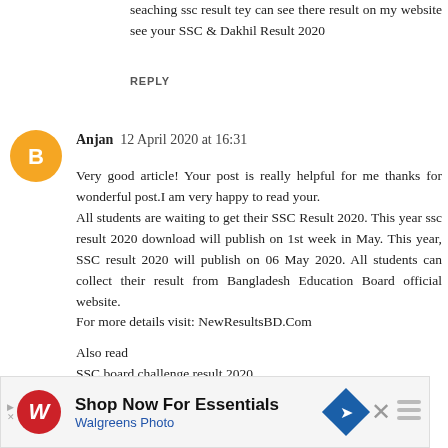seaching ssc result tey can see there result on my website see your SSC & Dakhil Result 2020
REPLY
Anjan  12 April 2020 at 16:31
Very good article! Your post is really helpful for me thanks for wonderful post.I am very happy to read your.
All students are waiting to get their SSC Result 2020. This year ssc result 2020 download will publish on 1st week in May. This year, SSC result 2020 will publish on 06 May 2020. All students can collect their result from Bangladesh Education Board official website.
For more details visit: NewResultsBD.Com
Also read
SSC board challenge result 2020
Honours 1st result 2020
Honours 2nd result 2020
[Figure (other): Walgreens Photo advertisement banner: Shop Now For Essentials]